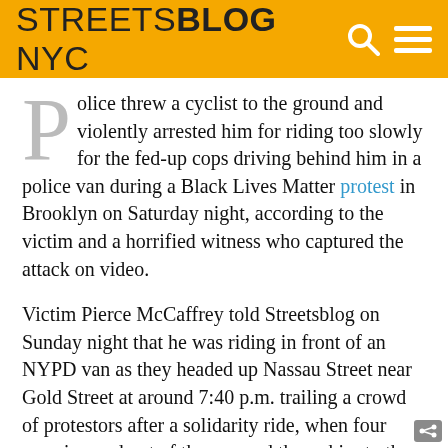STREETSBLOG NYC
Police threw a cyclist to the ground and violently arrested him for riding too slowly for the fed-up cops driving behind him in a police van during a Black Lives Matter protest in Brooklyn on Saturday night, according to the victim and a horrified witness who captured the attack on video.
Victim Pierce McCaffrey told Streetsblog on Sunday night that he was riding in front of an NYPD van as they headed up Nassau Street near Gold Street at around 7:40 p.m. trailing a crowd of protestors after a solidarity ride, when four cops jumped out of the van and threw him to the ground, smashing his head against the pavement.